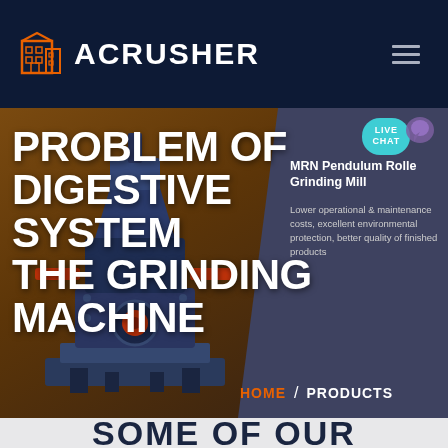ACRUSHER
[Figure (screenshot): ACRUSHER website screenshot showing a hero banner with a grinding machine. Left side has a brown/dark background with a large industrial grinding machine. Right side shows a grey-blue panel with MRN Pendulum Roller Grinding Mill product info. The page title reads PROBLEM OF DIGESTIVE SYSTEM THE GRINDING MACHINE with HOME / PRODUCTS breadcrumb. A LIVE CHAT button appears top right. Bottom white area partially shows SOME OF OUR text.]